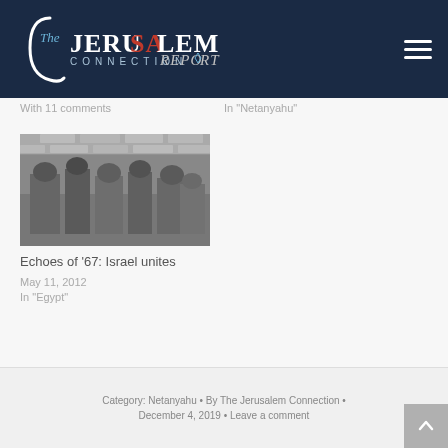[Figure (logo): The Jerusalem Connection Report logo on dark navy background with hamburger menu icon]
With 11 comments
In "Netanyahu"
[Figure (photo): Black and white historical photo of soldiers or people gathered near a stone wall]
Echoes of '67: Israel unites
May 11, 2012
In "Egypt"
Category: Netanyahu • By The Jerusalem Connection • December 4, 2019 • Leave a comment